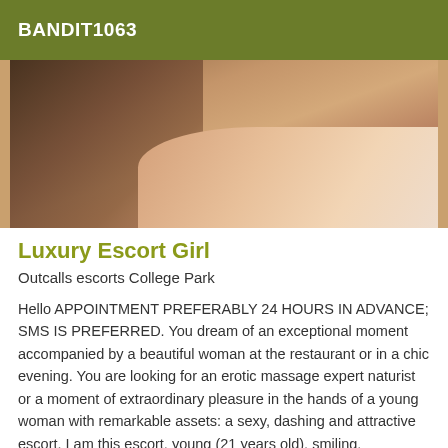BANDIT1063
[Figure (photo): Close-up photo of a person lying on a white bed with lace/floral fabric, hands visible in foreground]
Luxury Escort Girl
Outcalls escorts College Park
Hello APPOINTMENT PREFERABLY 24 HOURS IN ADVANCE; SMS IS PREFERRED. You dream of an exceptional moment accompanied by a beautiful woman at the restaurant or in a chic evening. You are looking for an erotic massage expert naturist or a moment of extraordinary pleasure in the hands of a young woman with remarkable assets: a sexy, dashing and attractive escort. I am this escort, young (21 years old), smiling,